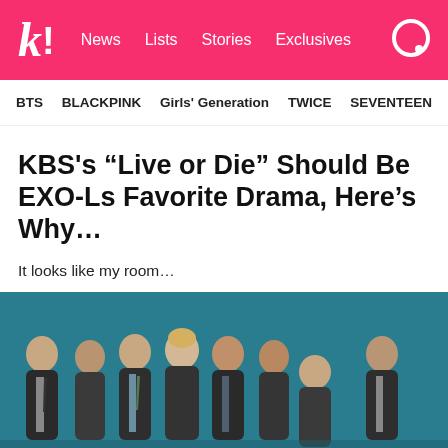k! News Lists Stories Exclusives
BTS  BLACKPINK  Girls' Generation  TWICE  SEVENTEEN
KBS's “Live or Die” Should Be EXO-Ls Favorite Drama, Here’s Why...
It looks like my room…
[Figure (photo): Group photo of EXO members wearing suits on a teal background]